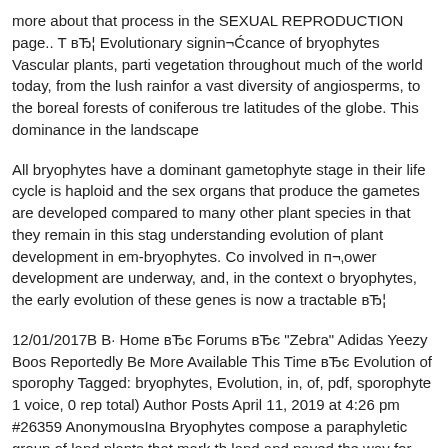more about that process in the SEXUAL REPRODUCTION page.. T вЂ¦ Evolutionary signin¬Ćcance of bryophytes Vascular plants, parti vegetation throughout much of the world today, from the lush rainfor a vast diversity of angiosperms, to the boreal forests of coniferous tre latitudes of the globe. This dominance in the landscape
All bryophytes have a dominant gametophyte stage in their life cycle is haploid and the sex organs that produce the gametes are developed compared to many other plant species in that they remain in this stag understanding evolution of plant development in em-bryophytes. Co involved in п¬‚ower development are underway, and, in the context o bryophytes, the early evolution of these genes is now a tractable вЂ¦
12/01/2017В В· Home вЂє Forums вЂє "Zebra" Adidas Yeezy Boos Reportedly Be More Available This Time вЂє Evolution of sporophy Tagged: bryophytes, Evolution, in, of, pdf, sporophyte 1 voice, 0 rep total) Author Posts April 11, 2019 at 4:26 pm #26359 AnonymousIna Bryophytes compose a paraphyletic group of land plants that mark th land and paved the way for the evolution of plants with highly differe